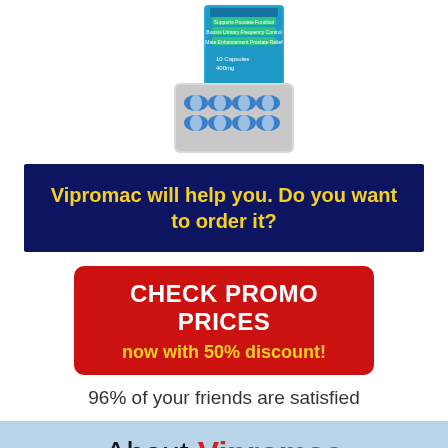[Figure (photo): Product image of Vipromac capsule blister pack and box, light blue packaging with pills visible]
Vipromac will help you. Do you want to order it?
CHECK PROMO PRICES
now with 50% discount!
96% of your friends are satisfied
About Vipromac
The product contains capsules for eliminating prostate problems and increasing male potency.